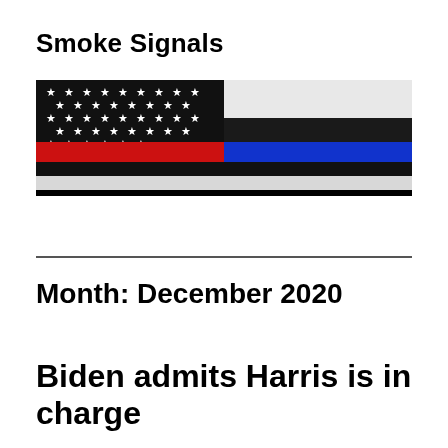Smoke Signals
[Figure (illustration): Thin Blue Line / Thin Red Line combined American flag — black and white flag with a horizontal red stripe on the left half and a horizontal blue stripe on the right half, stars field in upper left corner.]
Month: December 2020
Biden admits Harris is in charge